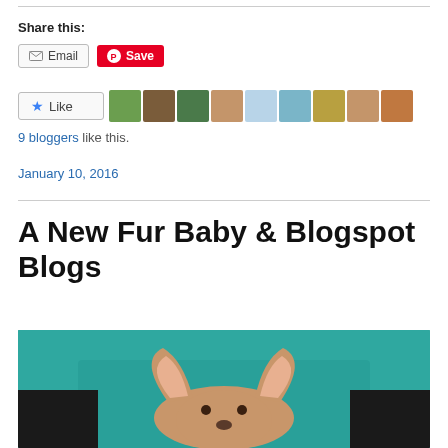Share this:
Email   Save
[Figure (other): Like button with 9 blogger avatar thumbnails]
9 bloggers like this.
January 10, 2016
A New Fur Baby & Blogspot Blogs
[Figure (photo): Photo of a small dog (chihuahua) with large ears being held against a teal/green shirt, visible from chest up]